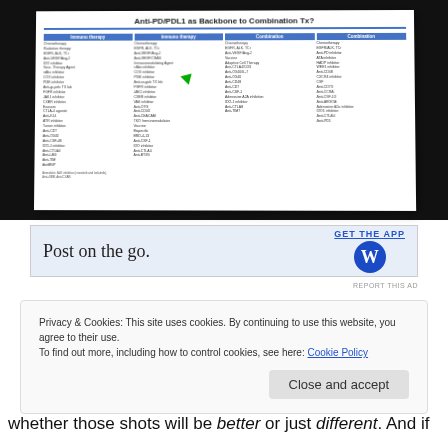[Figure (photo): A photograph of a projected medical slide titled 'Anti-PD/PDL1 as Backbone to Combination Tx?' showing a table with multiple columns listing various immunotherapy combination treatment categories including chemotherapy, immunomodulating agents, vaccines, targeted therapies, and other drug combinations. A green arrow points to one of the entries.]
[Figure (screenshot): Advertisement banner: 'Post on the go. GET THE APP' with a blue W logo (WordPress)]
REPORT THIS AD
Privacy & Cookies: This site uses cookies. By continuing to use this website, you agree to their use.
To find out more, including how to control cookies, see here: Cookie Policy
whether those shots will be better or just different. And if